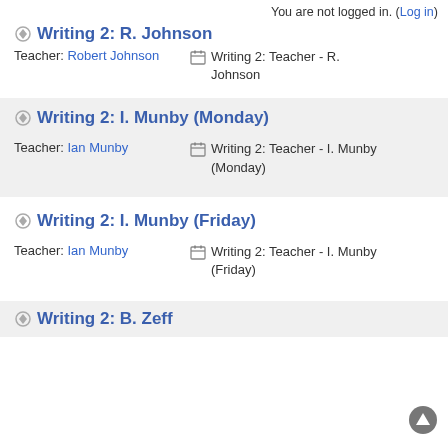You are not logged in. (Log in)
Writing 2: R. Johnson
Teacher: Robert Johnson    Writing 2: Teacher - R. Johnson
Writing 2: I. Munby (Monday)
Teacher: Ian Munby    Writing 2: Teacher - I. Munby (Monday)
Writing 2: I. Munby (Friday)
Teacher: Ian Munby    Writing 2: Teacher - I. Munby (Friday)
Writing 2: B. Zeff